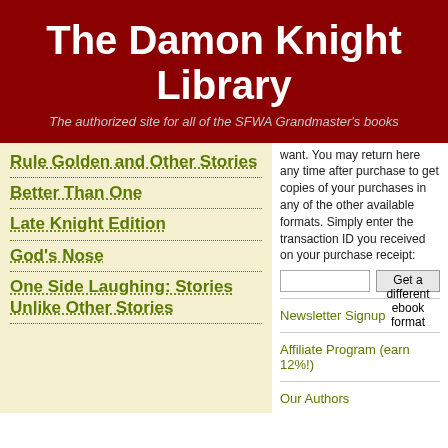The Damon Knight Library
The authorized site for all of the SFWA Grandmaster's books
Rule Golden and Other Stories
Better Than One
Late Knight Edition
God's Nose
One Side Laughing: Stories Unlike Other Stories
want. You may return here any time after purchase to get copies of your purchases in any of the other available formats. Simply enter the transaction ID you received on your purchase receipt:
Get a different ebook format
Newsletter Signup
Affiliate Program (earn 12%!)
Our Authors
News
For Authors
FAQ
Refund Policy